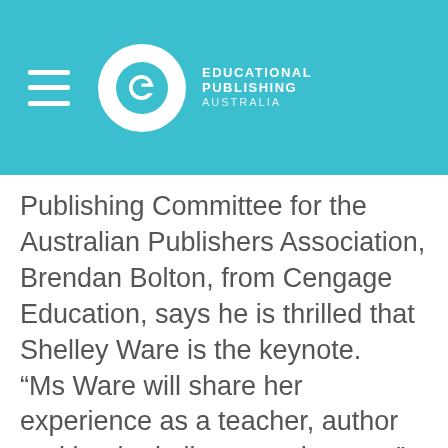[Figure (logo): Educational Publishing Australia logo with hamburger menu icon, circular 'e' logo, and brand name text on teal header background]
Publishing Committee for the Australian Publishers Association, Brendan Bolton, from Cengage Education, says he is thrilled that Shelley Ware is the keynote. “Ms Ware will share her experience as a teacher, author and leader in literacy advocacy,” Bolton said. Ms Ware says she loves talking about football and its culture, but raising awareness for high-standard education is another of her passions. “I’m honoured to speak to educational publishers and teachers at this event. I